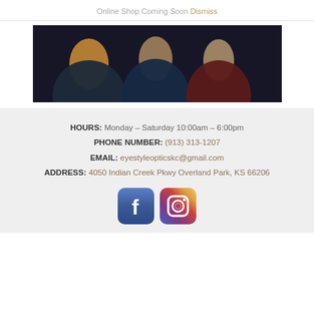Online Shop Coming Soon Dismiss
[Figure (photo): Photo of people sitting together on a dark background, partially cropped]
HOURS: Monday – Saturday 10:00am – 6:00pm
PHONE NUMBER: (913) 313-1207
EMAIL: eyestyleopticskc@gmail.com
ADDRESS: 4050 Indian Creek Pkwy Overland Park, KS 66206
[Figure (logo): Facebook and Instagram social media icons side by side]